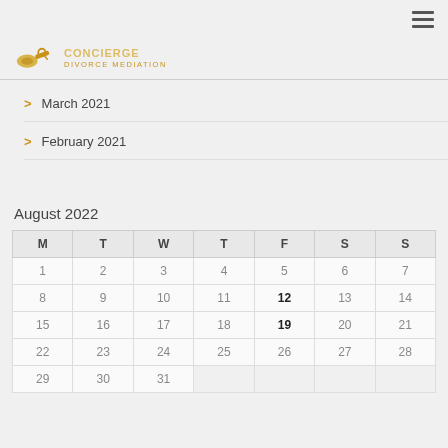[Figure (logo): Concierge Divorce Mediation logo with gavel/keys icon and text]
March 2021
February 2021
August 2022
| M | T | W | T | F | S | S |
| --- | --- | --- | --- | --- | --- | --- |
| 1 | 2 | 3 | 4 | 5 | 6 | 7 |
| 8 | 9 | 10 | 11 | 12 | 13 | 14 |
| 15 | 16 | 17 | 18 | 19 | 20 | 21 |
| 22 | 23 | 24 | 25 | 26 | 27 | 28 |
| 29 | 30 | 31 |  |  |  |  |